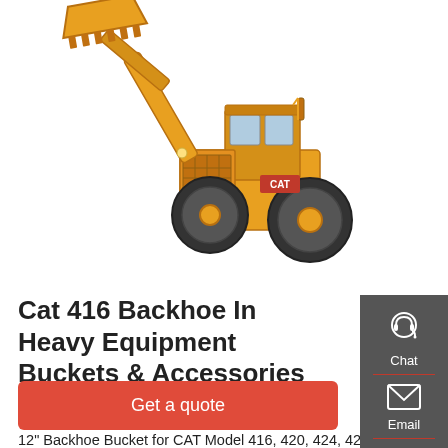[Figure (photo): Yellow Cat 416 backhoe wheel loader with bucket raised, shown at an angle on white background]
Cat 416 Backhoe In Heavy Equipment Buckets & Accessories
12" Backhoe Bucket for CAT Model 416, 420, 424, 428 & 430 Backhoe Loader. $995.00. $303.99 shipping.
[Figure (infographic): Dark gray sidebar with Chat (headset icon), Email (envelope icon), and Contact (speech bubble icon) buttons separated by red dividers]
Get a quote